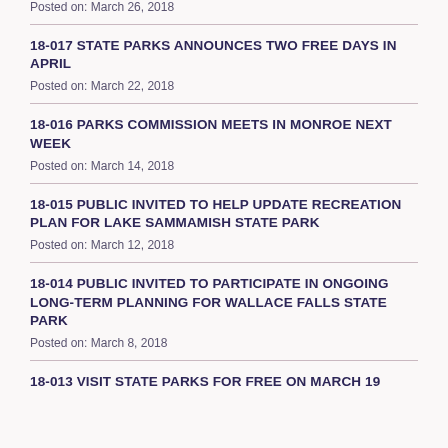Posted on: March 26, 2018
18-017 STATE PARKS ANNOUNCES TWO FREE DAYS IN APRIL
Posted on: March 22, 2018
18-016 PARKS COMMISSION MEETS IN MONROE NEXT WEEK
Posted on: March 14, 2018
18-015 PUBLIC INVITED TO HELP UPDATE RECREATION PLAN FOR LAKE SAMMAMISH STATE PARK
Posted on: March 12, 2018
18-014 PUBLIC INVITED TO PARTICIPATE IN ONGOING LONG-TERM PLANNING FOR WALLACE FALLS STATE PARK
Posted on: March 8, 2018
18-013 VISIT STATE PARKS FOR FREE ON MARCH 19